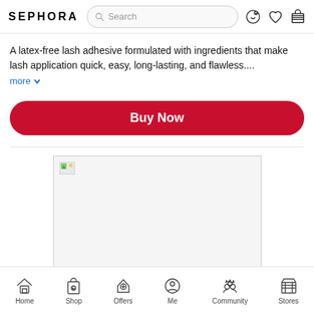SEPHORA — Search bar and navigation icons (profile, wishlist, cart)
A latex-free lash adhesive formulated with ingredients that make lash application quick, easy, long-lasting, and flawless....
more
[Figure (other): Red rounded Buy Now button]
[Figure (photo): Product image placeholder (broken image icon shown)]
Home  Shop  Offers  Me  Community  Stores